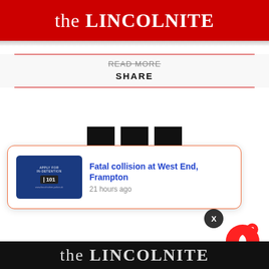the LINCOLNITE
READ MORE
SHARE
[Figure (other): Three vertical black loading bars indicating content loading]
[Figure (other): Push notification popup showing: Fatal collision at West End, Frampton — 21 hours ago, with a blue thumbnail image and close button]
the LINCOLNITE